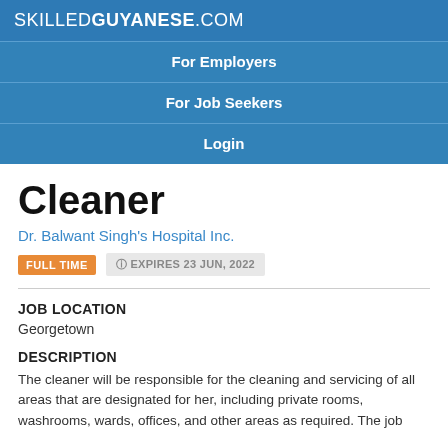SKILLEDGUYANESE.COM
For Employers
For Job Seekers
Login
Cleaner
Dr. Balwant Singh's Hospital Inc.
FULL TIME   EXPIRES 23 JUN, 2022
JOB LOCATION
Georgetown
DESCRIPTION
The cleaner will be responsible for the cleaning and servicing of all areas that are designated for her, including private rooms, washrooms, wards, offices, and other areas as required. The job